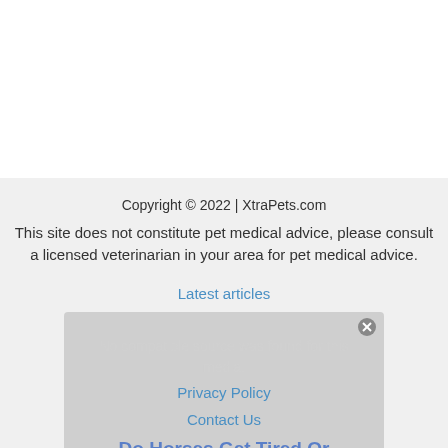Copyright © 2022  | XtraPets.com
This site does not constitute pet medical advice, please consult a licensed veterinarian in your area for pet medical advice.
Latest articles
Privacy Policy
Contact Us
[Figure (screenshot): Overlay box with 'No compatible source was found for this media.' message and a partial article title 'Do Horses Get Tired Or' with a close button and X mark]